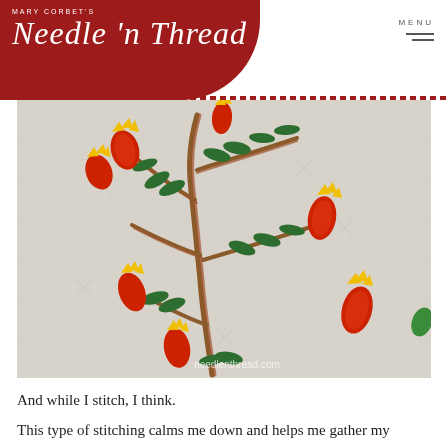Mary Corbet's Needle 'n Thread
[Figure (photo): Close-up photograph of embroidery on linen fabric showing a branch with red flower buds, green leaves, and yellow petal tips, with 'needlenthread.com' watermark in the lower right corner.]
And while I stitch, I think.
This type of stitching calms me down and helps me gather my